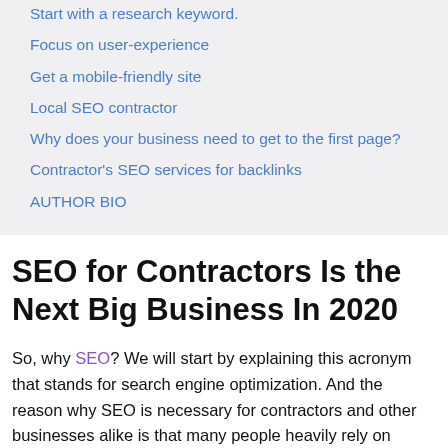Start with a research keyword.
Focus on user-experience
Get a mobile-friendly site
Local SEO contractor
Why does your business need to get to the first page?
Contractor's SEO services for backlinks
AUTHOR BIO
SEO for Contractors Is the Next Big Business In 2020
So, why SEO? We will start by explaining this acronym that stands for search engine optimization. And the reason why SEO is necessary for contractors and other businesses alike is that many people heavily rely on search engines to find